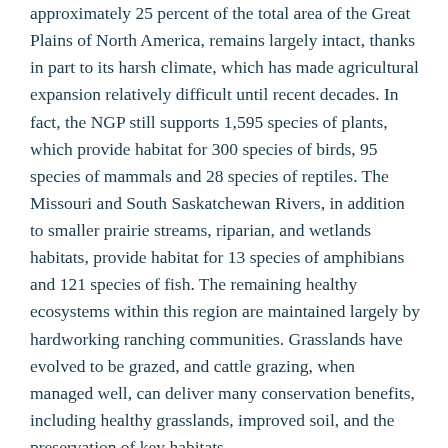approximately 25 percent of the total area of the Great Plains of North America, remains largely intact, thanks in part to its harsh climate, which has made agricultural expansion relatively difficult until recent decades. In fact, the NGP still supports 1,595 species of plants, which provide habitat for 300 species of birds, 95 species of mammals and 28 species of reptiles. The Missouri and South Saskatchewan Rivers, in addition to smaller prairie streams, riparian, and wetlands habitats, provide habitat for 13 species of amphibians and 121 species of fish. The remaining healthy ecosystems within this region are maintained largely by hardworking ranching communities. Grasslands have evolved to be grazed, and cattle grazing, when managed well, can deliver many conservation benefits, including healthy grasslands, improved soil, and the preservation of key habitats.